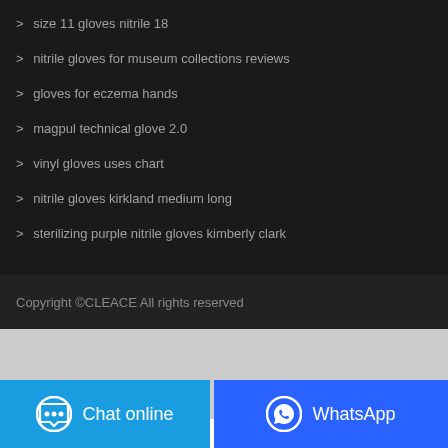> size 11 gloves nitrile 18
> nitrile gloves for museum collections reviews
> gloves for eczema hands
> magpul technical glove 2.0
> vinyl gloves uses chart
> nitrile gloves kirkland medium long
> sterilizing purple nitrile gloves kimberly clark
Copyright ©CLEACE All rights reserved
Chat online
WhatsApp